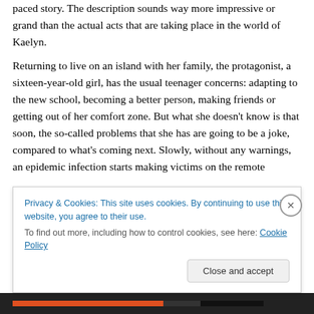paced story. The description sounds way more impressive or grand than the actual acts that are taking place in the world of Kaelyn.
Returning to live on an island with her family, the protagonist, a sixteen-year-old girl, has the usual teenager concerns: adapting to the new school, becoming a better person, making friends or getting out of her comfort zone. But what she doesn't know is that soon, the so-called problems that she has are going to be a joke, compared to what's coming next. Slowly, without any warnings, an epidemic infection starts making victims on the remote
Privacy & Cookies: This site uses cookies. By continuing to use this website, you agree to their use.
To find out more, including how to control cookies, see here: Cookie Policy